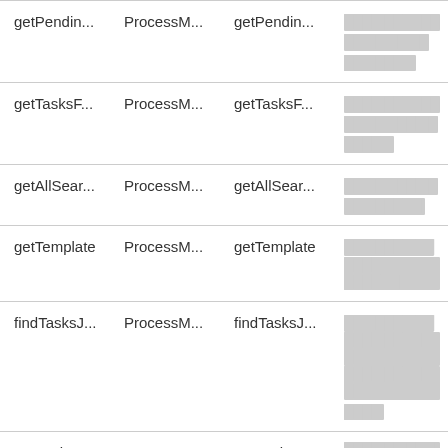| Method | Class | Link | Description |
| --- | --- | --- | --- |
| getPendin... | ProcessM... | getPendin... | [redacted text] |
| getTasksF... | ProcessM... | getTasksF... | [redacted text] |
| getAllSear... | ProcessM... | getAllSear... | [redacted text] |
| getTemplate | ProcessM... | getTemplate | [redacted text] |
| findTasksJ... | ProcessM... | findTasksJ... | [redacted text] |
| getAssign... | ProcessM... | getAssign... | [redacted text] |